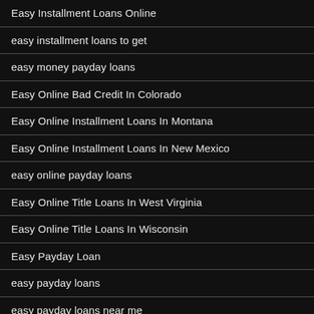Easy Installment Loans Online
easy installment loans to get
easy money payday loans
Easy Online Bad Credit In Colorado
Easy Online Installment Loans In Montana
Easy Online Installment Loans In New Mexico
easy online payday loans
Easy Online Title Loans In West Virginia
Easy Online Title Loans In Wisconsin
Easy Payday Loan
easy payday loans
easy payday loans near me
easy payday loans online